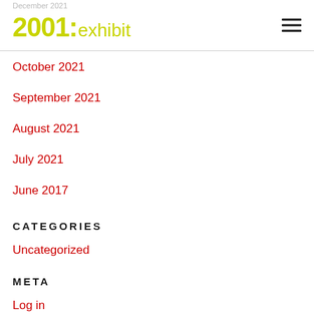December 2021  2001: exhibit
October 2021
September 2021
August 2021
July 2021
June 2017
CATEGORIES
Uncategorized
META
Log in